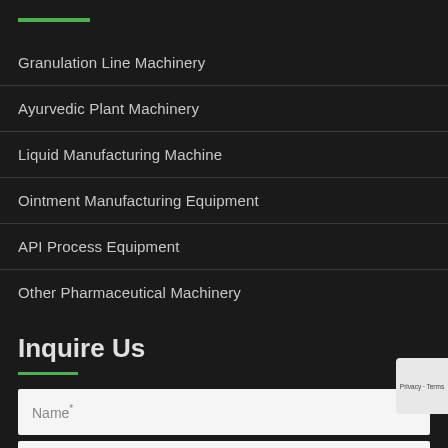Granulation Line Machinery
Ayurvedic Plant Machinery
Liquid Manufacturing Machine
Ointment Manufacturing Equipment
API Process Equipment
Other Pharmaceutical Machinery
Inquire Us
Name*
Number*